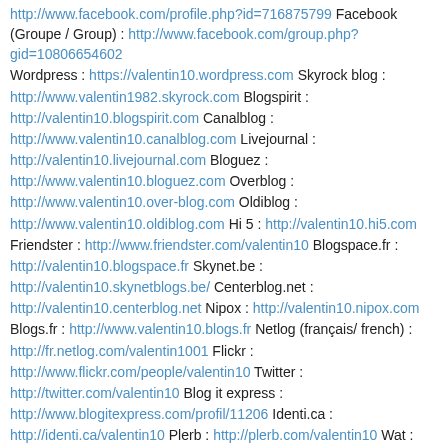http://www.facebook.com/profile.php?id=716875799 Facebook (Groupe / Group) : http://www.facebook.com/group.php?gid=10806654602 Wordpress : https://valentin10.wordpress.com Skyrock blog : http://www.valentin1982.skyrock.com Blogspirit : http://valentin10.blogspirit.com Canalblog : http://www.valentin10.canalblog.com Livejournal : http://valentin10.livejournal.com Bloguez : http://www.valentin10.bloguez.com Overblog : http://www.valentin10.over-blog.com Oldiblog : http://www.valentin10.oldiblog.com Hi 5 : http://valentin10.hi5.com Friendster : http://www.friendster.com/valentin10 Blogspace.fr : http://valentin10.blogspace.fr Skynet.be : http://valentin10.skynetblogs.be/ Centerblog.net : http://valentin10.centerblog.net Nipox : http://valentin10.nipox.com Blogs.fr : http://www.valentin10.blogs.fr Netlog (français/ french) : http://fr.netlog.com/valentin1001 Flickr : http://www.flickr.com/people/valentin10 Twitter : http://twitter.com/valentin10 Blog it express : http://www.blogitexpress.com/profil/11206 Identi.ca : http://identi.ca/valentin10 Plerb : http://plerb.com/valentin10 Wat :